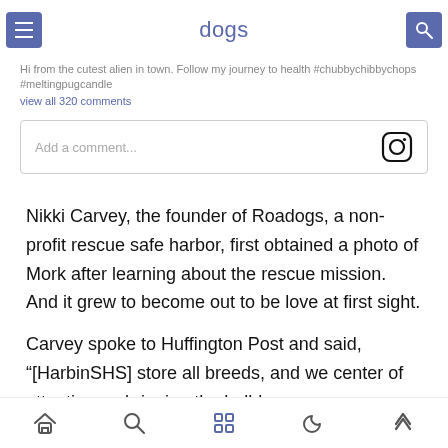dogs
Hi from the cutest alien in town. Follow my journey to health #chubbychibbychops #meltingpugcandle
view all 320 comments
Add a comment...
Nikki Carvey, the founder of Roadogs, a non-profit rescue safe harbor, first obtained a photo of Mork after learning about the rescue mission. And it grew to become out to be love at first sight.
Carvey spoke to Huffington Post and said, “[HarbinSHS] store all breeds, and we center of attention on bringing the bulldogs
navigation icons